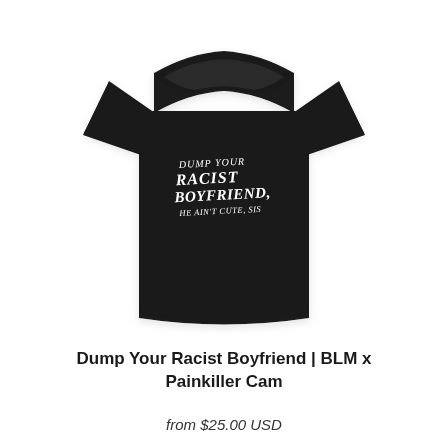[Figure (photo): Black crew-neck t-shirt with white stylized text reading 'DUMP YOUR RACIST BOYFRIEND, HE AIN'T CUTE, SIS' printed on the chest area.]
Dump Your Racist Boyfriend | BLM x Painkiller Cam
from $25.00 USD